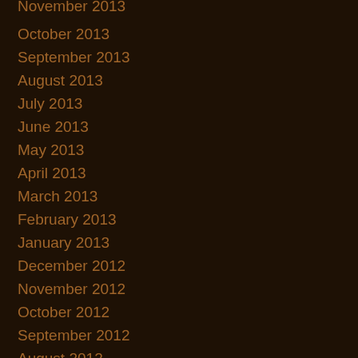November 2013
October 2013
September 2013
August 2013
July 2013
June 2013
May 2013
April 2013
March 2013
February 2013
January 2013
December 2012
November 2012
October 2012
September 2012
August 2012
July 2012
June 2012
May 2012
April 2012